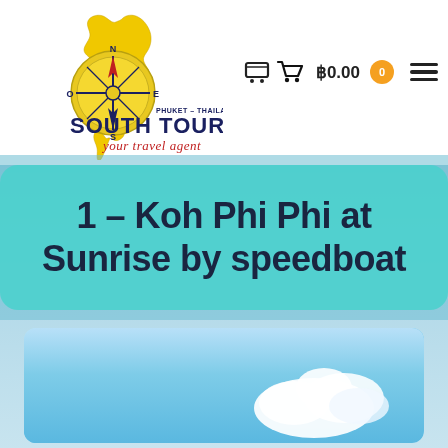[Figure (logo): South Tours Phuket-Thailand logo with compass rose and yellow Thailand map silhouette, text 'SOUTH TOURS your travel agent']
฿0.00
1 – Koh Phi Phi at Sunrise by speedboat
[Figure (photo): Sky and clouds photo, blue sky with white clouds, scenic tropical background]